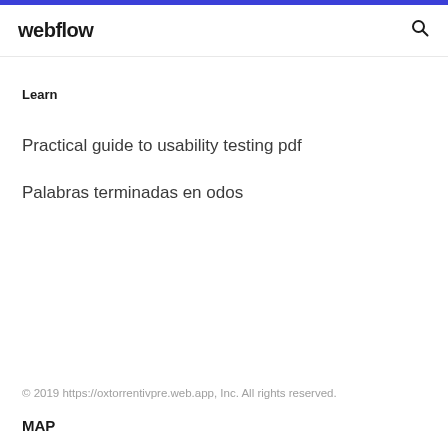webflow
Learn
Practical guide to usability testing pdf
Palabras terminadas en odos
© 2019 https://oxtorrentivpre.web.app, Inc. All rights reserved.
MAP